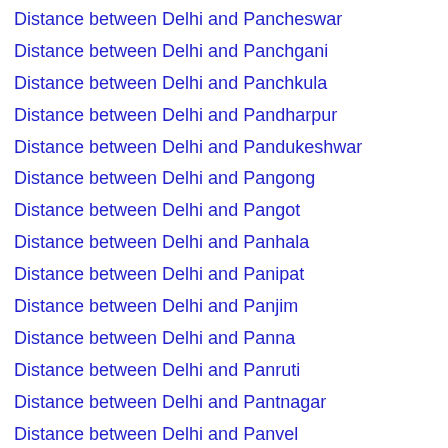Distance between Delhi and Pancheswar
Distance between Delhi and Panchgani
Distance between Delhi and Panchkula
Distance between Delhi and Pandharpur
Distance between Delhi and Pandukeshwar
Distance between Delhi and Pangong
Distance between Delhi and Pangot
Distance between Delhi and Panhala
Distance between Delhi and Panipat
Distance between Delhi and Panjim
Distance between Delhi and Panna
Distance between Delhi and Panruti
Distance between Delhi and Pantnagar
Distance between Delhi and Panvel
Distance between Delhi and Paonta Sahib
Distance between Delhi and Paota
Distance between Delhi and Paradip
Distance between Delhi and Parambikulam
Distance between Delhi and Parasnath